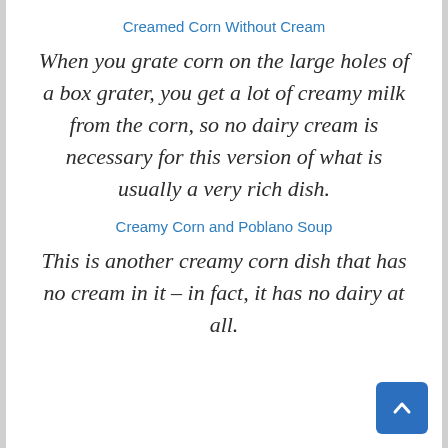Creamed Corn Without Cream
When you grate corn on the large holes of a box grater, you get a lot of creamy milk from the corn, so no dairy cream is necessary for this version of what is usually a very rich dish.
Creamy Corn and Poblano Soup
This is another creamy corn dish that has no cream in it – in fact, it has no dairy at all.